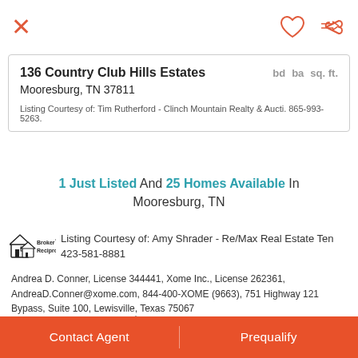X [close button] [heart icon] [share icon]
136 Country Club Hills Estates  bd  ba  sq. ft.
Mooresburg, TN 37811
Listing Courtesy of: Tim Rutherford - Clinch Mountain Realty & Aucti. 865-993-5263.
1 Just Listed And 25 Homes Available In Mooresburg, TN
Listing Courtesy of: Amy Shrader - Re/Max Real Estate Ten 423-581-8881
Andrea D. Conner, License 344441, Xome Inc., License 262361, AndreaD.Conner@xome.com, 844-400-XOME (9663), 751 Highway 121 Bypass, Suite 100, Lewisville, Texas 75067
Real Estate listings held by other brokerage firms are marked with the name of the listing broker. Information being provided is for consumers' personal, non-commercial use and may not be used for
Contact Agent   Prequalify